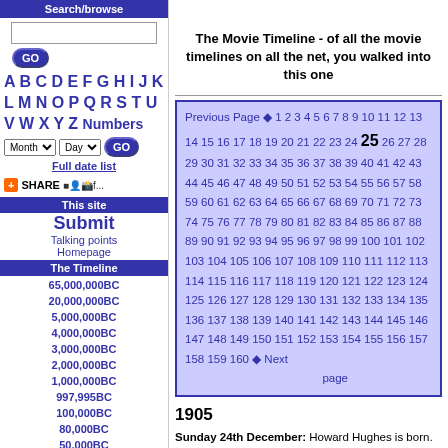Search/browse
GO
A B C D E F G H I J K L M N O P Q R S T U V W X Y Z Numbers
Month Day GO
Full date list
+ SHARE
This site
Submit
Talking points
Homepage
The Timeline
65,000,000BC
20,000,000BC
5,000,000BC
4,000,000BC
3,000,000BC
2,000,000BC
1,000,000BC
997,995BC
100,000BC
80,000BC
50,000BC
18,000BC
17,000BC
16,637BC
The Movie Timeline - of all the movie timelines on all the net, you walked into this one
Previous Page 1 2 3 4 5 6 7 8 9 10 11 12 13 14 15 16 17 18 19 20 21 22 23 24 25 26 27 28 29 30 31 32 33 34 35 36 37 38 39 40 41 42 43 44 45 46 47 48 49 50 51 52 53 54 55 56 57 58 59 60 61 62 63 64 65 66 67 68 69 70 71 72 73 74 75 76 77 78 79 80 81 82 83 84 85 86 87 88 89 90 91 92 93 94 95 96 97 98 99 100 101 102 103 104 105 106 107 108 109 110 111 112 113 114 115 116 117 118 119 120 121 122 123 124 125 126 127 128 129 130 131 132 133 134 135 136 137 138 139 140 141 142 143 144 145 146 147 148 149 150 151 152 153 154 155 156 157 158 159 160 Next page
1905
Sunday 24th December: Howard Hughes is born. (Houston, Texas - The Aviator)
1906